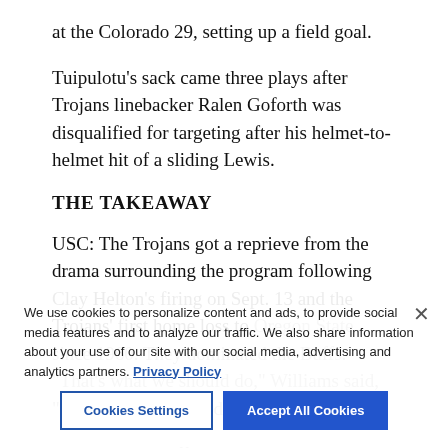at the Colorado 29, setting up a field goal.
Tuipulotu's sack came three plays after Trojans linebacker Ralen Goforth was disqualified for targeting after his helmet-to-helmet hit of a sliding Lewis.
THE TAKEAWAY
USC: The Trojans got a reprieve from the drama surrounding the program following Clay Helton's firing on Sept. 13 and the Trojans' first home loss to Oregon State since 1960. They dominated the Buffs. "That's what we should do," Williams said, "that's what we should do."
Colorado: The offensive struggles continued for the young Buffs, who still couldn't find any rhythm against an opponent that was scuffling just about as much as they were. Their last five losses to USC had come by a total of 26 points, including three by four
We use cookies to personalize content and ads, to provide social media features and to analyze our traffic. We also share information about your use of our site with our social media, advertising and analytics partners. Privacy Policy
Cookies Settings
Accept All Cookies